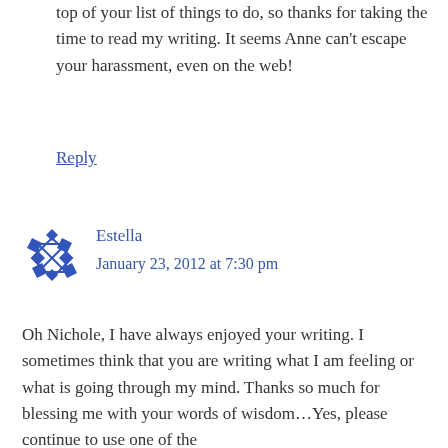top of your list of things to do, so thanks for taking the time to read my writing. It seems Anne can’t escape your harassment, even on the web!
Reply
[Figure (illustration): Blue decorative avatar icon with diamond and cross pattern]
Estella
January 23, 2012 at 7:30 pm
Oh Nichole, I have always enjoyed your writing. I sometimes think that you are writing what I am feeling or what is going through my mind. Thanks so much for blessing me with your words of wisdom…Yes, please continue to use one of the